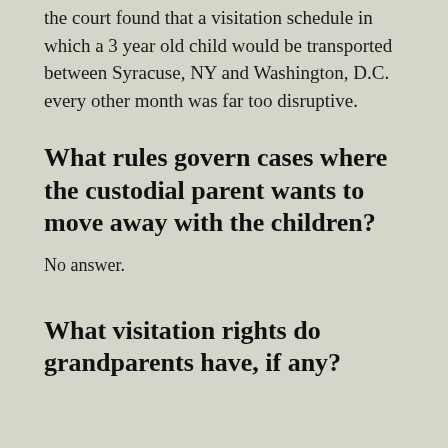the court found that a visitation schedule in which a 3 year old child would be transported between Syracuse, NY and Washington, D.C. every other month was far too disruptive.
What rules govern cases where the custodial parent wants to move away with the children?
No answer.
What visitation rights do grandparents have, if any?